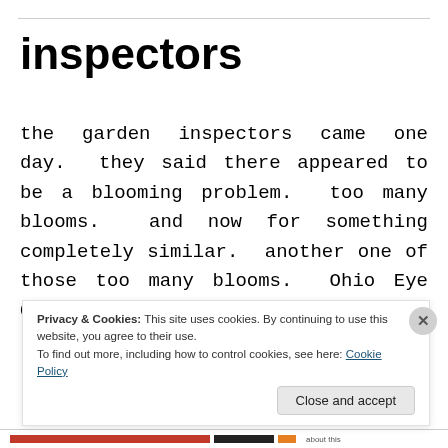inspectors
the garden inspectors came one day.  they said there appeared to be a blooming problem.  too many blooms.  and now for something completely similar.  another one of those too many blooms.  Ohio Eye Oh.  three images…
[Figure (photo): Outdoor garden scene with lush green trees, a white tent or canopy structure, garden beds with yellow/green flowering plants, and a person visible in the background.]
Privacy & Cookies: This site uses cookies. By continuing to use this website, you agree to their use.
To find out more, including how to control cookies, see here: Cookie Policy
Close and accept